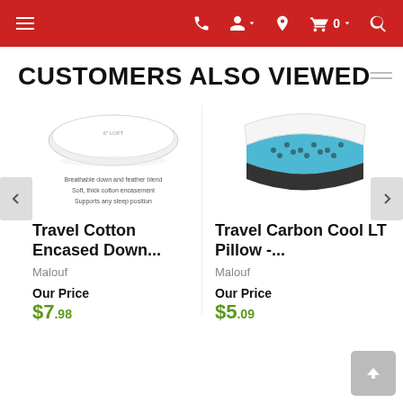Navigation bar with menu, phone, account, location, cart (0), search icons
CUSTOMERS ALSO VIEWED
[Figure (photo): White down pillow product photo with text: Breathable down and feather blend, Soft, thick cotton encasement, Supports any sleep position]
Travel Cotton Encased Down...
Malouf
Our Price
[Figure (photo): Travel Carbon Cool LT Pillow product photo showing white and blue/black textured foam pillow]
Travel Carbon Cool LT Pillow -...
Malouf
Our Price